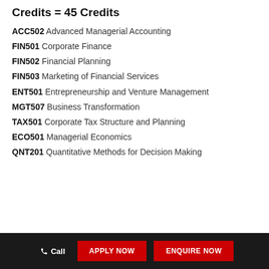Credits = 45 Credits
ACC502 Advanced Managerial Accounting
FIN501 Corporate Finance
FIN502 Financial Planning
FIN503 Marketing of Financial Services
ENT501 Entrepreneurship and Venture Management
MGT507 Business Transformation
TAX501 Corporate Tax Structure and Planning
ECO501 Managerial Economics
QNT201 Quantitative Methods for Decision Making
Call  APPLY NOW  ENQUIRE NOW